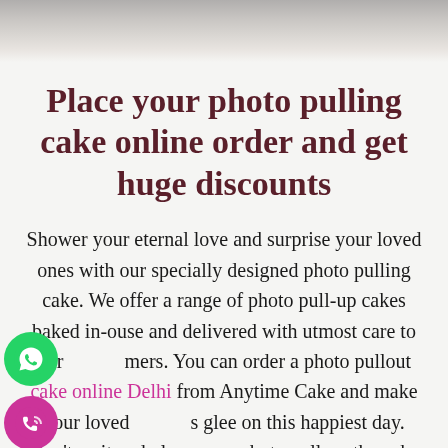[Figure (photo): Stone/concrete textured background banner at the top of the page]
Place your photo pulling cake online order and get huge discounts
Shower your eternal love and surprise your loved ones with our specially designed photo pulling cake. We offer a range of photo pull-up cakes baked in-house and delivered with utmost care to our customers. You can order a photo pullout cake online Delhi from Anytime Cake and make your loved ones glee on this happiest day. Don't wait and place your photo pull-up the cake order online and get the
[Figure (illustration): WhatsApp green circular icon with phone handset]
[Figure (illustration): Purple/pink circular phone/call icon with signal waves]